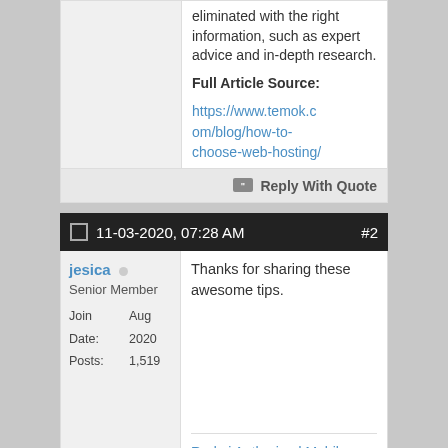eliminated with the right information, such as expert advice and in-depth research.
Full Article Source: https://www.temok.com/blog/how-to-choose-web-hosting/
Reply With Quote
11-03-2020, 07:28 AM  #2
jesica Senior Member Join Date: Aug 2020 Posts: 1,519
Thanks for sharing these awesome tips.
Redmi Authorized Mobile Service Center in Chennai Mi Service Center in Chennai